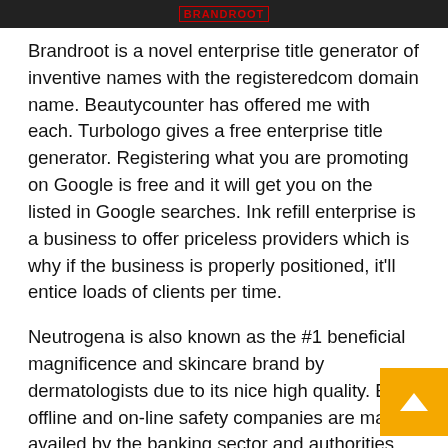BRANDROOT
Brandroot is a novel enterprise title generator of inventive names with the registeredcom domain name. Beautycounter has offered me with each. Turbologo gives a free enterprise title generator. Registering what you are promoting on Google is free and it will get you on the listed in Google searches. Ink refill enterprise is a business to offer priceless providers which is why if the business is properly positioned, it’ll entice loads of clients per time.
Neutrogena is also known as the #1 beneficial magnificence and skincare brand by dermatologists due to its nice high quality. Each offline and on-line safety companies are majorly availed by the banking sector and authorities sectors. Brands crucial to the success of a enterprise or product